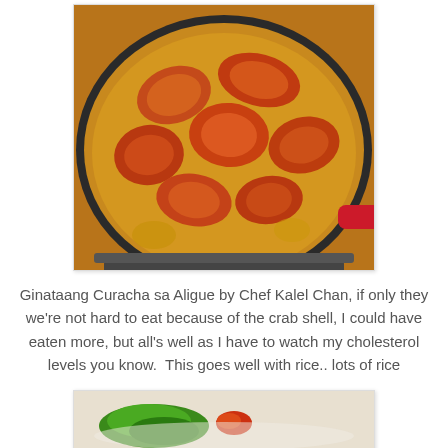[Figure (photo): A pan/wok filled with Ginataang Curacha sa Aligue — crab pieces cooked in golden-orange coconut milk and crab fat sauce, visible in a dark round pan with a red handle, set on a stove.]
Ginataang Curacha sa Aligue by Chef Kalel Chan, if only they we're not hard to eat because of the crab shell, I could have eaten more, but all's well as I have to watch my cholesterol levels you know.  This goes well with rice.. lots of rice
[Figure (photo): Partial view of another food photo showing green and red vegetables/garnish on a plate.]